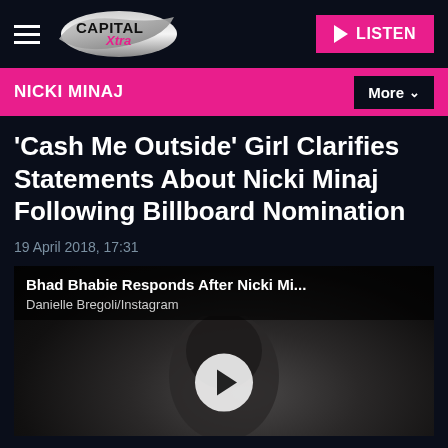Capital Xtra | LISTEN
NICKI MINAJ
'Cash Me Outside' Girl Clarifies Statements About Nicki Minaj Following Billboard Nomination
19 April 2018, 17:31
[Figure (screenshot): Video thumbnail showing 'Bhad Bhabie Responds After Nicki Mi...' with credit 'Danielle Bregoli/Instagram' and a play button overlay over a dark image of a person's face]